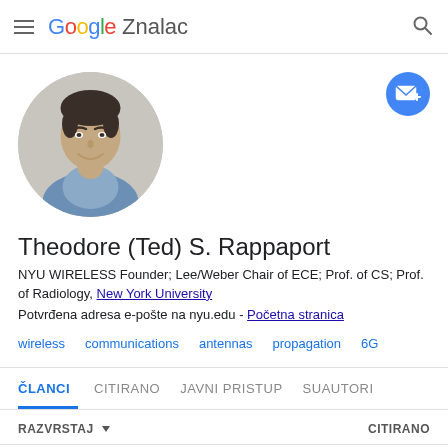Google Znalac
[Figure (photo): Circular profile photo of Theodore (Ted) S. Rappaport, a man in a blue shirt, smiling, against a light grey background.]
Theodore (Ted) S. Rappaport
NYU WIRELESS Founder; Lee/Weber Chair of ECE; Prof. of CS; Prof. of Radiology, New York University
Potvrđena adresa e-pošte na nyu.edu - Početna stranica
wireless
communications
antennas
propagation
6G
ČLANCI   CITIRANO   JAVNI PRISTUP   SUAUTORI
RAZVRSTAJ   CITIRANO
Wireless communications principles and practice...